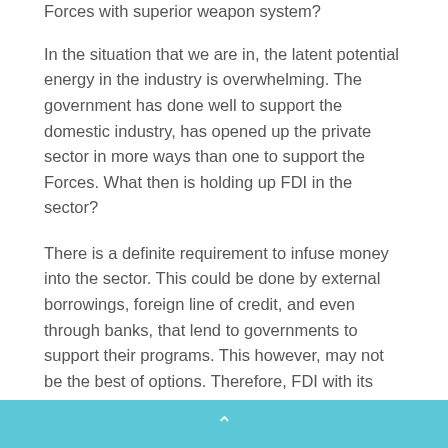Forces with superior weapon system?
In the situation that we are in, the latent potential energy in the industry is overwhelming. The government has done well to support the domestic industry, has opened up the private sector in more ways than one to support the Forces. What then is holding up FDI in the sector?
There is a definite requirement to infuse money into the sector. This could be done by external borrowings, foreign line of credit, and even through banks, that lend to governments to support their programs. This however, may not be the best of options. Therefore, FDI with its instruments of support is considered essential. FDI could typically include, equity, technology, investment in kind, institutional investors,
^